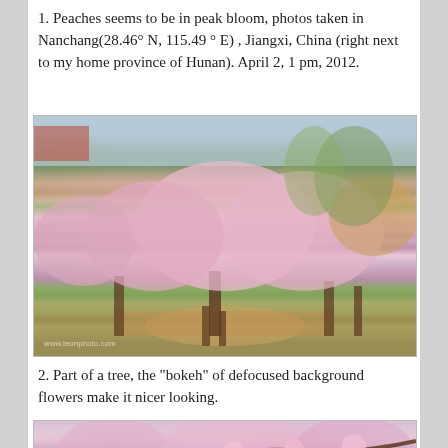1. Peaches seems to be in peak bloom, photos taken in Nanchang(28.46° N, 115.49 ° E) , Jiangxi, China (right next to my home province of Hunan). April 2, 1 pm, 2012.
[Figure (photo): Peach trees in full pink bloom in an orchard in Nanchang, China. Multiple trees with dense pink blossoms, green grass ground cover, and other trees in background. Taken April 2, 2012.]
2. Part of a tree, the “bokeh” of defocused background flowers make it nicer looking.
[Figure (photo): Close-up of peach tree branches with pink blossoms, bokeh effect with defocused background flowers.]